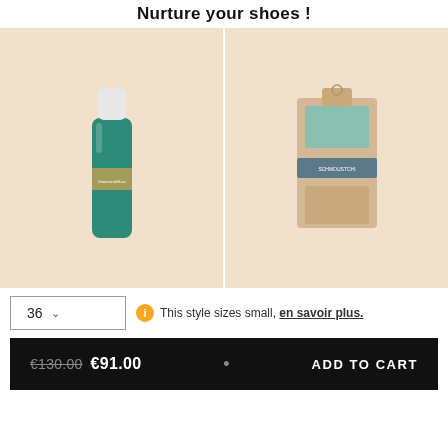Nurture your shoes !
[Figure (photo): Teal/green spray bottle (shoe care product) on a beige/cream background]
[Figure (photo): Boxed shoe care cloths/pads in a kraft cardboard box with brand band on a beige background]
36 ▾
ⓘ This style sizes small, en savoir plus.
€130.00  €91.00  •  ADD TO CART